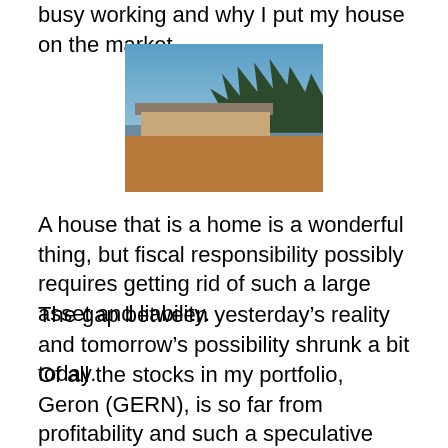busy working and why I put my house on the market.
[Figure (photo): Exterior photo of a mid-century modern house with trees in background and dirt/gravel in foreground, taken in daylight with blue sky.]
A house that is a home is a wonderful thing, but fiscal responsibility possibly requires getting rid of such a large asset and liability.
The gap between yesterday’s reality and tomorrow’s possibility shrunk a bit today.
Of all the stocks in my portfolio, Geron (GERN), is so far from profitability and such a speculative stock, that I decided to sell half to get me over a recent cash flow gap. The good news: the cash came in very handy. The other